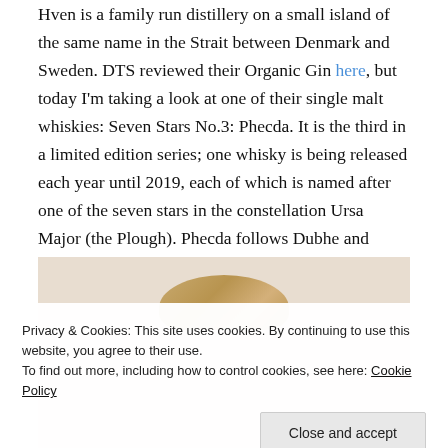Hven is a family run distillery on a small island of the same name in the Strait between Denmark and Sweden. DTS reviewed their Organic Gin here, but today I'm taking a look at one of their single malt whiskies: Seven Stars No.3: Phecda. It is the third in a limited edition series; one whisky is being released each year until 2019, each of which is named after one of the seven stars in the constellation Ursa Major (the Plough). Phecda follows Dubhe and Merak.
[Figure (photo): Partial view of a whisky bottle, showing the top/cap portion against a light beige/cream background. The bottle cap appears golden/amber colored.]
Privacy & Cookies: This site uses cookies. By continuing to use this website, you agree to their use.
To find out more, including how to control cookies, see here: Cookie Policy